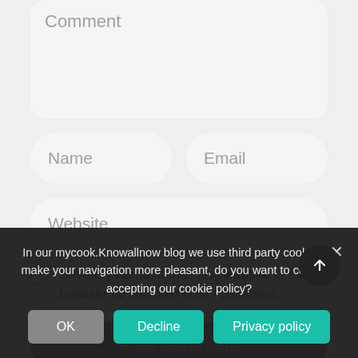Comment
Name
Email
Website
Save my name, email, and website in this browser for the next time I comment.
Post Comment
In our mycook.Knowallnow blog we use third party cookies to make your navigation more pleasant, do you want to continue accepting our cookie policy?
OK
Decline
Privacy policy